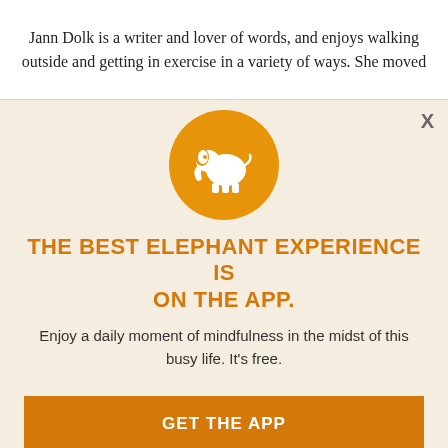Jann Dolk is a writer and lover of words, and enjoys walking outside and getting in exercise in a variety of ways. She moved
[Figure (logo): Orange circle with white elephant silhouette — Elephant Journal app logo]
THE BEST ELEPHANT EXPERIENCE IS ON THE APP.
Enjoy a daily moment of mindfulness in the midst of this busy life. It's free.
GET THE APP
OPEN IN APP